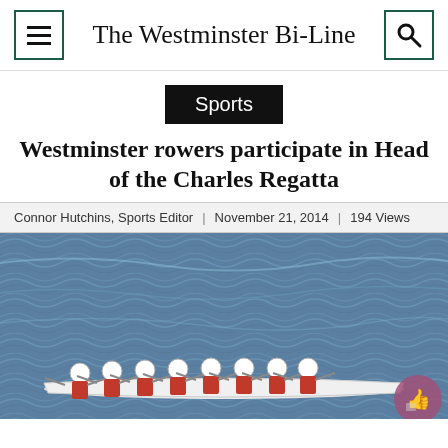The Westminster Bi-Line
Sports
Westminster rowers participate in Head of the Charles Regatta
Connor Hutchins, Sports Editor | November 21, 2014 | 194 Views
[Figure (photo): Rowing team in a shell boat on open blue water, multiple rowers wearing white helmets and orange/red uniforms, rowing in unison. A thumbs-up button overlay appears in the bottom right corner.]